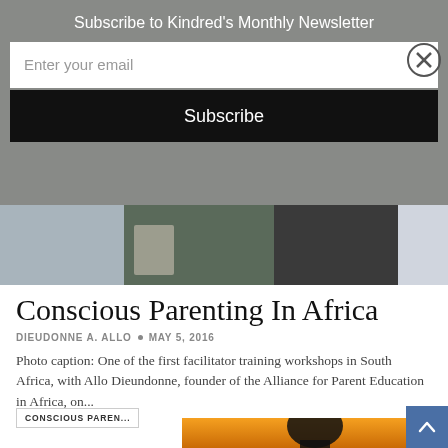Subscribe to Kindred's Monthly Newsletter
Enter your email
Subscribe
[Figure (photo): Photo strip showing people at a facilitator training workshop in South Africa]
Conscious Parenting In Africa
DIEUDONNE A. ALLO • MAY 5, 2016
Photo caption: One of the first facilitator training workshops in South Africa, with Allo Dieundonne, founder of the Alliance for Parent Education in Africa, on...
CONSCIOUS PAREN...
[Figure (photo): Silhouette of a person holding a child against a sunset orange sky]